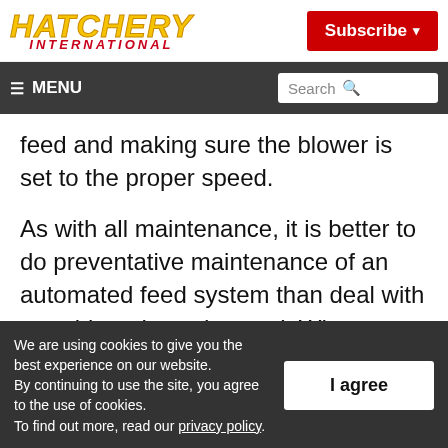HATCHERY INTERNATIONAL | Subscribe
≡ MENU | Search
feed and making sure the blower is set to the proper speed.
As with all maintenance, it is better to do preventative maintenance of an automated feed system than deal with a problem down the road. What preventative maintenance
We are using cookies to give you the best experience on our website. By continuing to use the site, you agree to the use of cookies. To find out more, read our privacy policy.